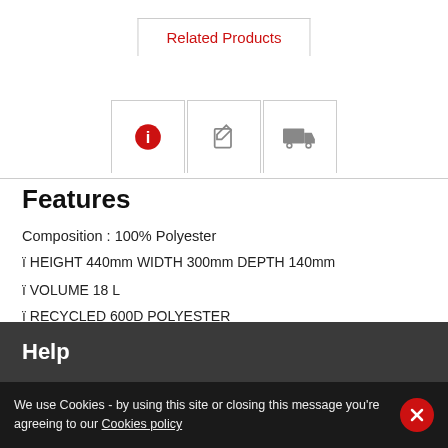Related Products
[Figure (infographic): Three icon tabs: info (red circle with i), edit (pencil on paper), and delivery (truck)]
Features
Composition : 100% Polyester
ï HEIGHT 440mm WIDTH 300mm DEPTH 140mm
ï VOLUME 18 L
ï RECYCLED 600D POLYESTER
ï LARGE MAIN COMPARTMENT
ï LARGE ZIP FRONT POCKET
Help
We use Cookies - by using this site or closing this message you're agreeing to our Cookies policy